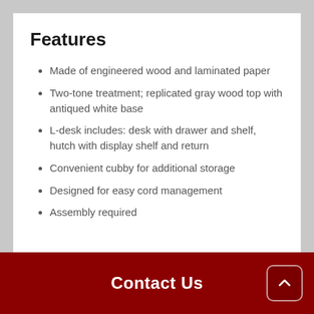Features
Made of engineered wood and laminated paper
Two-tone treatment; replicated gray wood top with antiqued white base
L-desk includes: desk with drawer and shelf, hutch with display shelf and return
Convenient cubby for additional storage
Designed for easy cord management
Assembly required
Contact Us